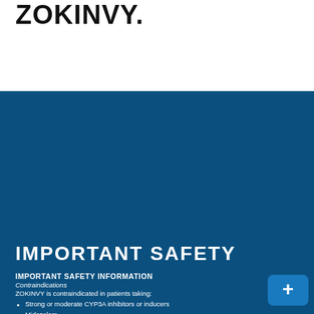ZOKINVY.
IMPORTANT SAFETY
IMPORTANT SAFETY INFORMATION
Contraindications
ZOKINVY is contraindicated in patients taking:
Strong or moderate CYP3A inhibitors or inducers
Midazolam
Lovastatin, simvastatin, and atorvastatin
INDICATION AND USAGE
ZOKINVY is indicated in adult and pediatric patients 12 months of age and older with a body surface area (BSA) of 0.39 m2 and above:
To reduce the risk of mortality in Hutchinson-Gilford Progeria Syndrome (HGPS)
For the treatment of processing-deficient